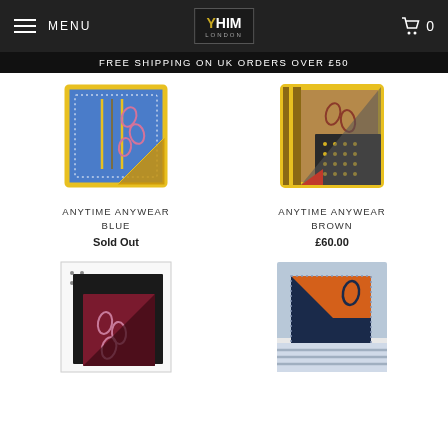MENU | YHIM LONDON | 0
FREE SHIPPING ON UK ORDERS OVER £50
[Figure (photo): Folded pocket square in blue with yellow border and pink paisley pattern]
ANYTIME ANYWEAR BLUE
Sold Out
[Figure (photo): Folded pocket square in brown/tan with yellow border and paisley pattern]
ANYTIME ANYWEAR BROWN
£60.00
[Figure (photo): Folded pocket square in dark burgundy/maroon with white polka dot border and paisley pattern]
[Figure (photo): Folded pocket square in navy blue and orange with stripe pattern]